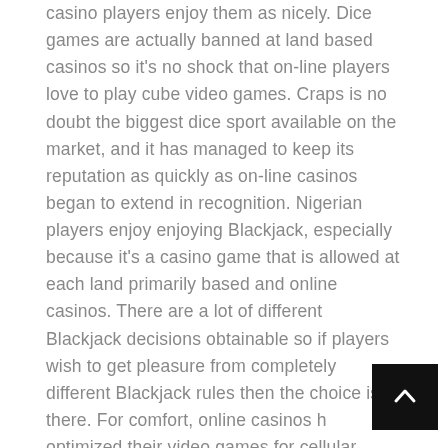casino players enjoy them as nicely. Dice games are actually banned at land based casinos so it's no shock that on-line players love to play cube video games. Craps is no doubt the biggest dice sport available on the market, and it has managed to keep its reputation as quickly as on-line casinos began to extend in recognition. Nigerian players enjoy enjoying Blackjack, especially because it's a casino game that is allowed at each land primarily based and online casinos. There are a lot of different Blackjack decisions obtainable so if players wish to get pleasure from completely different Blackjack rules then the choice is there. For comfort, online casinos have optimized their video games for cellular devices corresponding to smartphones and tablets.